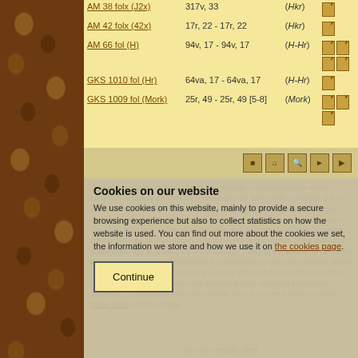| Manuscript | Folios | Version | Images |
| --- | --- | --- | --- |
| AM 38 folx (J2x) | 317v, 33 | (Hkr) | 🖼 |
| AM 42 folx (42x) | 17r, 22 - 17r, 22 | (Hkr) | 🖼 |
| AM 66 fol (H) | 94v, 17 - 94v, 17 | (H-Hr) | 🖼🖼🖼🖼 |
| GKS 1010 fol (Hr) | 64va, 17 - 64va, 17 | (H-Hr) | 🖼 |
| GKS 1009 fol (Mork) | 25r, 49 - 25r, 49 [5-8] | (Mork) | 🖼🖼🖼 |
© Skaldic Project Academic Body and Brepols, unless otherwise noted. Database structure and interface developed by Tarrin Wills. All users of this database are reminded that its content may be either subject to copyright restrictions or is the property of the custodians of specific texts and images. The texts here may not be reproduced or disseminated such as to constitute substantial reproduction except with the express permission of the individual editor of the text in question and the General Editor of the volume in which the text is to be published. Applications for permission to use such material should be made in the first instance to the General Editor of the volume in question. All information that appears in the published texts has been thoroughly reviewed. If you believe some information here is incorrect please contact Tarrin Wills with full details.
Cookies on our website
We use cookies on this website, mainly to provide a secure browsing experience but also to collect statistics on how the website is used. You can find out more about the cookies we set, the information we store and how we use it on the cookies page.
(try the mobile site)